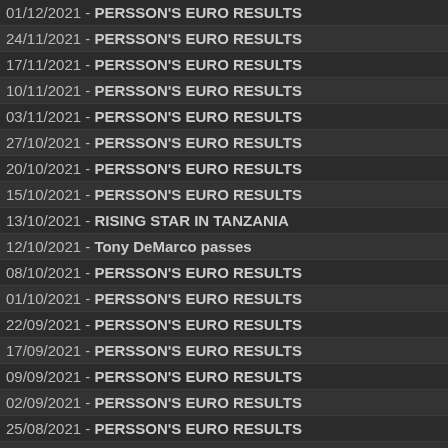01/12/2021 - PERSSON'S EURO RESULTS
24/11/2021 - PERSSON'S EURO RESULTS
17/11/2021 - PERSSON'S EURO RESULTS
10/11/2021 - PERSSON'S EURO RESULTS
03/11/2021 - PERSSON'S EURO RESULTS
27/10/2021 - PERSSON'S EURO RESULTS
20/10/2021 - PERSSON'S EURO RESULTS
15/10/2021 - PERSSON'S EURO RESULTS
13/10/2021 - RISING STAR IN TANZANIA
12/10/2021 - Tony DeMarco passes
08/10/2021 - PERSSON'S EURO RESULTS
01/10/2021 - PERSSON'S EURO RESULTS
22/09/2021 - PERSSON'S EURO RESULTS
17/09/2021 - PERSSON'S EURO RESULTS
09/09/2021 - PERSSON'S EURO RESULTS
02/09/2021 - PERSSON'S EURO RESULTS
25/08/2021 - PERSSON'S EURO RESULTS
21/08/2021 - Amir Khan and Lee McAllister Respond to Afghan Boxers
20/08/2021 - PERSSON'S EURO RESULTS
11/08/2021 - PERSSON'S EURO RESULTS
07/08/2021 - Is Boxrec Endangering Boxers by Listing Seasoned Pros
06/08/2021 - PERSSON'S EURO RESULTS
31/07/2021 - PERSSON'S EURO RESULTS
21/07/2021 - PERSSON'S EURO RESULTS
15/07/2021 - PERSSON'S EURO RESULTS
07/07/2021 - PERSSON'S EURO RESULTS
05/07/2021 - Hollie Towl in Brighton on Sept 4th